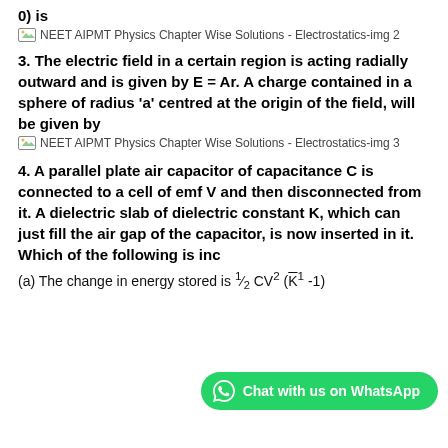2) ... 6xy - y + 2y2, the electric field (in N/C) at point (1, 1, 0) is
[Figure (screenshot): NEET AIPMT Physics Chapter Wise Solutions - Electrostatics-img 2]
3. The electric field in a certain region is acting radially outward and is given by E = Ar. A charge contained in a sphere of radius 'a' centred at the origin of the field, will be given by
[Figure (screenshot): NEET AIPMT Physics Chapter Wise Solutions - Electrostatics-img 3]
4. A parallel plate air capacitor of capacitance C is connected to a cell of emf V and then disconnected from it. A dielectric slab of dielectric constant K, which can just fill the air gap of the capacitor, is now inserted in it. Which of the following is incorrect?
(a) The change in energy stored is 1/2 CV^2 (1/K - 1)